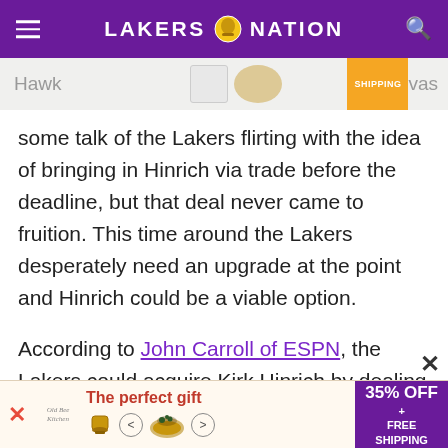LAKERS NATION
[Figure (screenshot): Partial advertisement banner at top showing product image and 'SHIPPING' badge]
some talk of the Lakers flirting with the idea of bringing in Hinrich via trade before the deadline, but that deal never came to fruition. This time around the Lakers desperately need an upgrade at the point and Hinrich could be a viable option.
According to John Carroll of ESPN, the Lakers could acquire Kirk Hinrich by dealing rookie Darius Morris and a first-round pick to the Atlanta Hawks. This pick sent to Atlanta could be the one received in the
[Figure (screenshot): Advertisement banner at bottom: 'The perfect gift' with 35% OFF + FREE SHIPPING promotion]